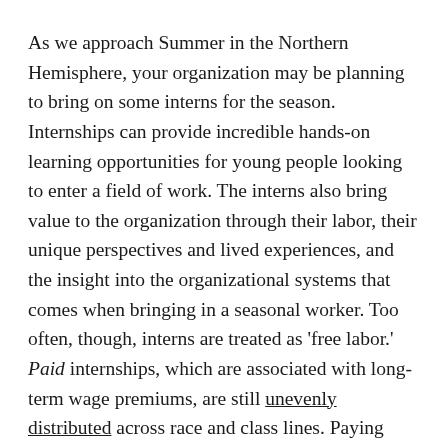As we approach Summer in the Northern Hemisphere, your organization may be planning to bring on some interns for the season. Internships can provide incredible hands-on learning opportunities for young people looking to enter a field of work. The interns also bring value to the organization through their labor, their unique perspectives and lived experiences, and the insight into the organizational systems that comes when bringing in a seasonal worker. Too often, though, interns are treated as 'free labor.' Paid internships, which are associated with long-term wage premiums, are still unevenly distributed across race and class lines. Paying interns is a critical step in addressing economic inequality for marginalized and underrepresented groups.